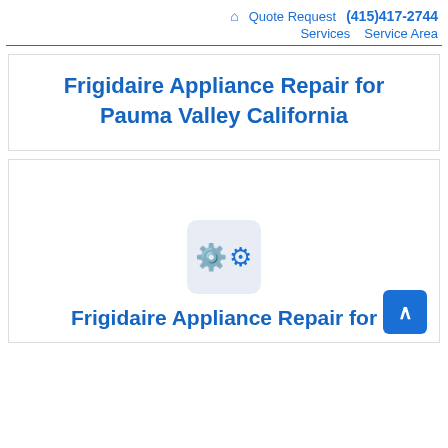🏠 Quote Request (415)417-2744 Services Service Area
Frigidaire Appliance Repair for Pauma Valley California
[Figure (illustration): Gear icon placeholder image in a light blue-grey rounded box]
Frigidaire Appliance Repair for